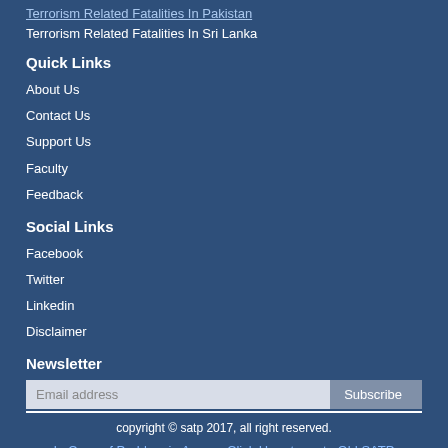Terrorism Related Fatalities In Pakistan
Terrorism Related Fatalities In Sri Lanka
Quick Links
About Us
Contact Us
Support Us
Faculty
Feedback
Social Links
Facebook
Twitter
Linkedin
Disclaimer
Newsletter
Email address  Subscribe
copyright © satp 2017, all right reserved.
In Case of Problem in Access Click Here to go to Old SATP